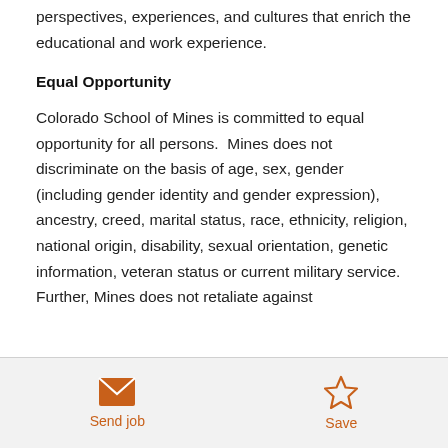perspectives, experiences, and cultures that enrich the educational and work experience.
Equal Opportunity
Colorado School of Mines is committed to equal opportunity for all persons.  Mines does not discriminate on the basis of age, sex, gender (including gender identity and gender expression), ancestry, creed, marital status, race, ethnicity, religion, national origin, disability, sexual orientation, genetic information, veteran status or current military service. Further, Mines does not retaliate against
Send job  Save